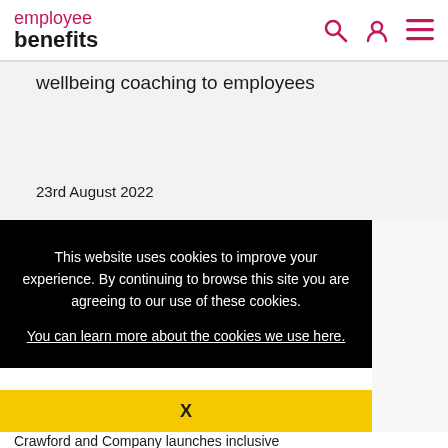employee benefits — navigation header with search, user, and menu icons
wellbeing coaching to employees
23rd August 2022
This website uses cookies to improve your experience. By continuing to browse this site you are agreeing to our use of these cookies.
You can learn more about the cookies we use here.
X
Crawford and Company launches inclusive